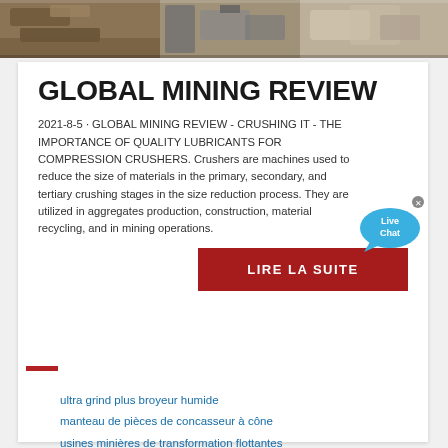[Figure (photo): Top banner image showing mining equipment and rock materials in an industrial setting]
GLOBAL MINING REVIEW
2021-8-5 · GLOBAL MINING REVIEW - CRUSHING IT - THE IMPORTANCE OF QUALITY LUBRICANTS FOR COMPRESSION CRUSHERS. Crushers are machines used to reduce the size of materials in the primary, secondary, and tertiary crushing stages in the size reduction process. They are utilized in aggregates production, construction, material recycling, and in mining operations.
LIRE LA SUITE
ultra grind plus broyeur humide
manteau de pièces de concasseur à cône
usines minières de transformation flottantes